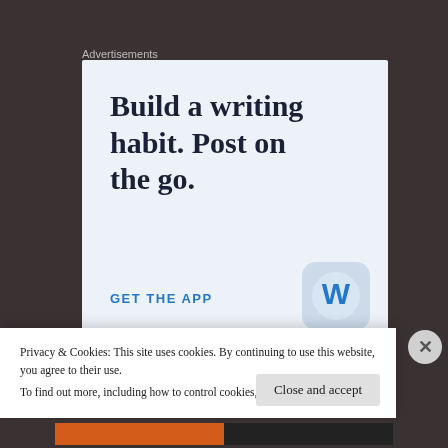Advertisements
[Figure (screenshot): WordPress advertisement: 'Build a writing habit. Post on the go.' with GET THE APP link and WordPress logo icon on light blue background]
Privacy & Cookies: This site uses cookies. By continuing to use this website, you agree to their use.
To find out more, including how to control cookies, see here: Cookie Policy
Close and accept